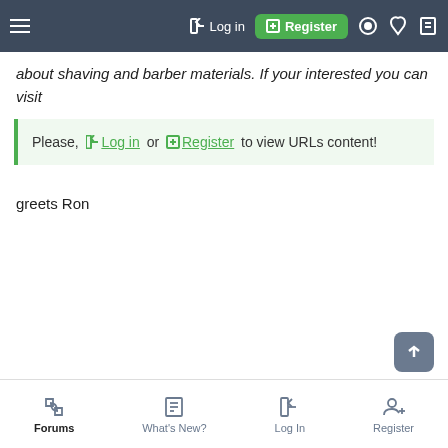Log in | Register (navigation bar)
about shaving and barber materials. If your interested you can visit
Please, Log in or Register to view URLs content!
greets Ron
Forums | What's New? | Log In | Register